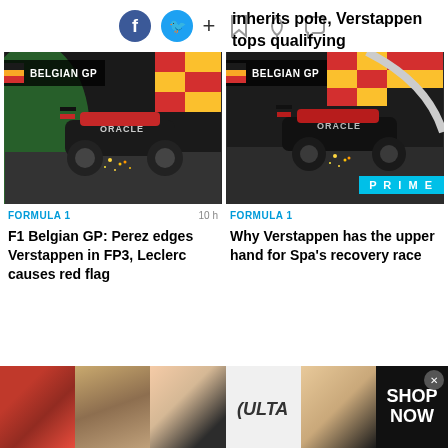[Figure (screenshot): Social media sharing icons: Facebook (blue circle), Twitter (blue circle), plus sign, bookmark, bell, and chat icons]
inherits pole, Verstappen tops qualifying
[Figure (photo): Red Bull Formula 1 car (Oracle livery) on track at Belgian GP with sparks flying, rear view. Badge: BELGIAN GP with Belgian flag.]
FORMULA 1 · 10 h
F1 Belgian GP: Perez edges Verstappen in FP3, Leclerc causes red flag
[Figure (photo): Red Bull Formula 1 car (Oracle livery) on track at Belgian GP with sparks, rear view. Badge: BELGIAN GP with Belgian flag. PRIME badge in cyan.]
FORMULA 1
Why Verstappen has the upper hand for Spa's recovery race
[Figure (photo): Ulta Beauty advertisement banner with makeup/beauty images: lips with lipstick, makeup brush, eye with makeup, ULTA logo, eye makeup, and SHOP NOW text]